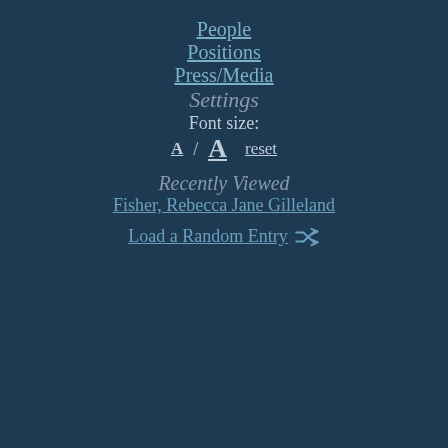People
Positions
Press/Media
Settings
Font size:
A / A  reset
Recently Viewed
Fisher, Rebecca Jane Gilleland
Load a Random Entry